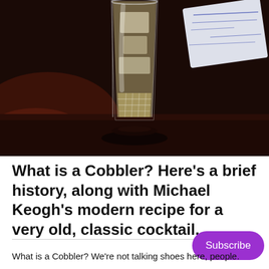[Figure (photo): A tall crystal cocktail glass filled with a pale golden drink and ice, sitting on a dark wooden bar surface. A partially visible white card/menu is in the upper right background. The background is dark brown/black.]
What is a Cobbler? Here's a brief history, along with Michael Keogh's modern recipe for a very old, classic cocktail.
What is a Cobbler? We're not talking shoes here, people.